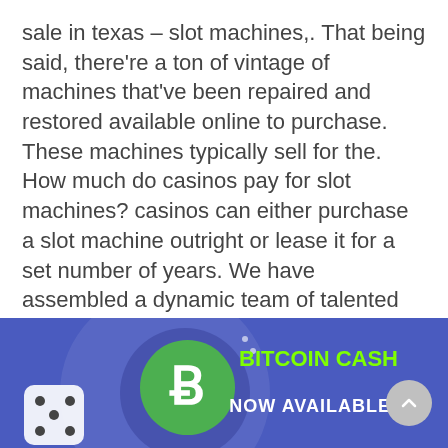sale in texas – slot machines,. That being said, there're a ton of vintage of machines that've been repaired and restored available online to purchase. These machines typically sell for the. How much do casinos pay for slot machines? casinos can either purchase a slot machine outright or lease it for a set number of years. We have assembled a dynamic team of talented game designers, developers, and mathematicians to create the most entertaining slot games in the market,
[Figure (infographic): Blue banner advertisement showing a Bitcoin Cash logo (green circle with B symbol), dice, and text reading 'BITCOIN CASH NOW AVAILABLE!' in green and white on a blue/purple background. A grey scroll-to-top button is visible in the lower right.]